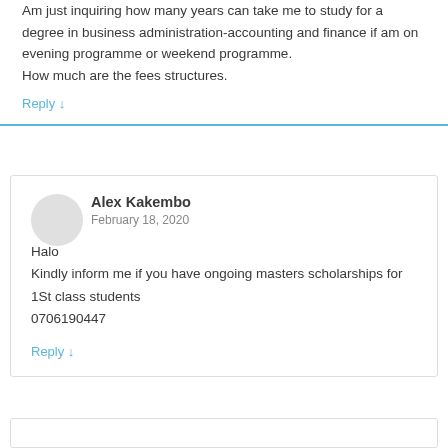Am just inquiring how many years can take me to study for a degree in business administration-accounting and finance if am on evening programme or weekend programme.
How much are the fees structures.
Reply ↓
Alex Kakembo
February 18, 2020
Halo
Kindly inform me if you have ongoing masters scholarships for 1St class students
0706190447
Reply ↓